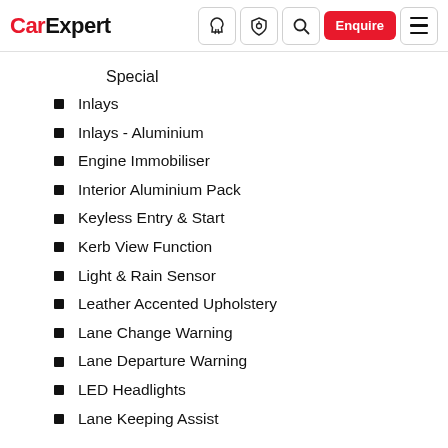CarExpert — navigation bar with logo, icons, Enquire button, and hamburger menu
Special
Inlays
Inlays - Aluminium
Engine Immobiliser
Interior Aluminium Pack
Keyless Entry & Start
Kerb View Function
Light & Rain Sensor
Leather Accented Upholstery
Lane Change Warning
Lane Departure Warning
LED Headlights
Lane Keeping Assist